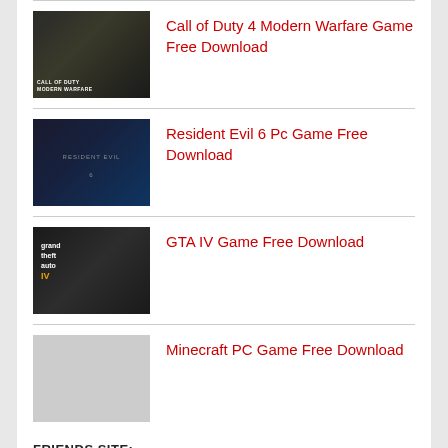Call of Duty 4 Modern Warfare Game Free Download
Resident Evil 6 Pc Game Free Download
GTA IV Game Free Download
Minecraft PC Game Free Download
FRIENDS SITE:
CloudyMovies
OveGames